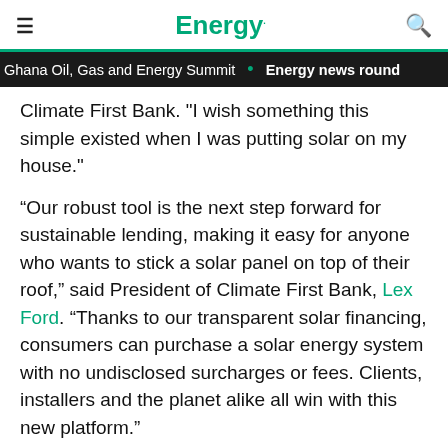Energy.
Ghana Oil, Gas and Energy Summit • Energy news round
Climate First Bank. "I wish something this simple existed when I was putting solar on my house."
“Our robust tool is the next step forward for sustainable lending, making it easy for anyone who wants to stick a solar panel on top of their roof,” said President of Climate First Bank, Lex Ford. “Thanks to our transparent solar financing, consumers can purchase a solar energy system with no undisclosed surcharges or fees. Clients, installers and the planet alike all win with this new platform.”
Climate First Bank is interested in partnering with Florida’s top-tier residential and commercial solar PV installers. Those considering participation in the loan program and becoming a preferred partner can click